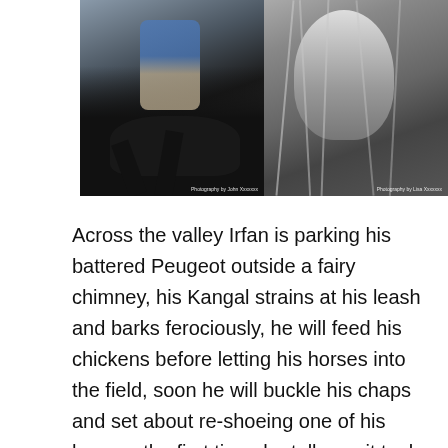[Figure (photo): Two side-by-side photographs: left shows a person riding a black horse in motion (color photo), right shows a close-up of a horse's head with rope bridle (black and white photo). Both have small photography credits in the bottom-right corners.]
Across the valley Irfan is parking his battered Peugeot outside a fairy chimney, his Kangal strains at his leash and barks ferociously, he will feed his chickens before letting his horses into the field, soon he will buckle his chaps and set about re-shoeing one of his horses, the first time, he tells me it took him ages and the horse was kicking and struggling, now though his horse is calm and lets Irfan hack at the fillings in the hoofs, I learned from